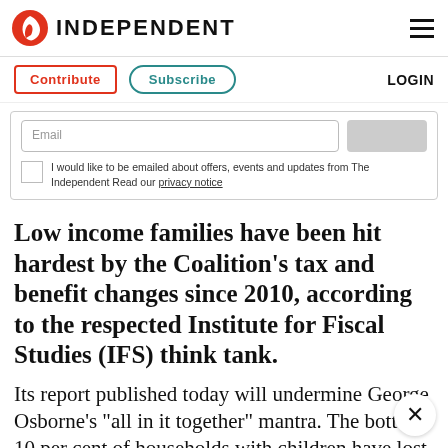INDEPENDENT
Contribute | Subscribe | LOGIN
Email | I would like to be emailed about offers, events and updates from The Independent Read our privacy notice
Low income families have been hit hardest by the Coalition’s tax and benefit changes since 2010, according to the respected Institute for Fiscal Studies (IFS) think tank.
Its report published today will undermine George Osborne’s “all in it together” mantra. The bottom 10 per cent of households with children have lost the most in both cash term